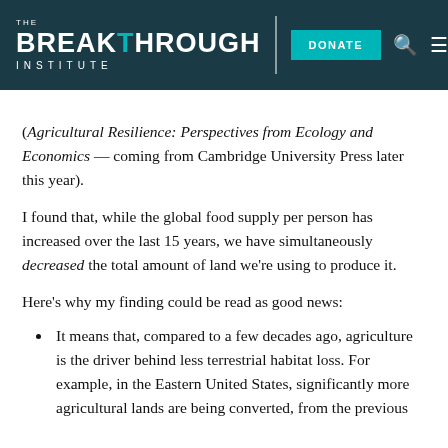THE BREAKTHROUGH INSTITUTE — DONATE
(Agricultural Resilience: Perspectives from Ecology and Economics — coming from Cambridge University Press later this year).
I found that, while the global food supply per person has increased over the last 15 years, we have simultaneously decreased the total amount of land we're using to produce it.
Here's why my finding could be read as good news:
It means that, compared to a few decades ago, agriculture is the driver behind less terrestrial habitat loss. For example, in the Eastern United States, significantly more agricultural lands are being converted, from the previous... (truncated)